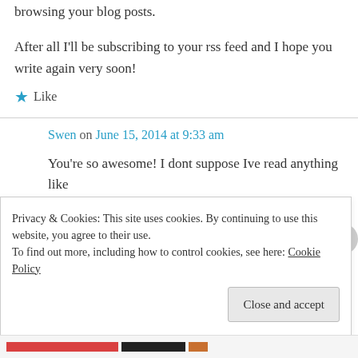browsing your blog posts.
After all I'll be subscribing to your rss feed and I hope you write again very soon!
★ Like
Swen on June 15, 2014 at 9:33 am
You're so awesome! I dont suppose Ive read anything like
Privacy & Cookies: This site uses cookies. By continuing to use this website, you agree to their use. To find out more, including how to control cookies, see here: Cookie Policy
Close and accept